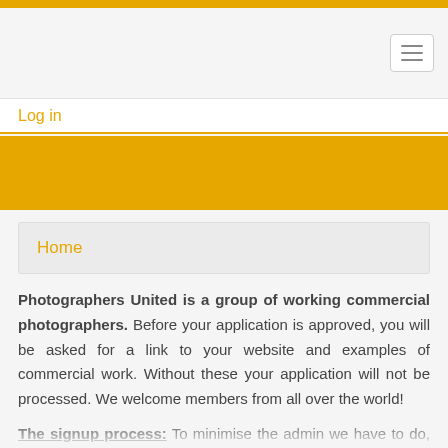Log in
[Figure (screenshot): Orange hero banner image]
Home
Photographers United is a group of working commercial photographers. Before your application is approved, you will be asked for a link to your website and examples of commercial work. Without these your application will not be processed. We welcome members from all over the world!
The signup process: To minimise the admin we have to do, we are asking potential members to pay the membership fee first, using the link below. We will then email you asking for proof of your...